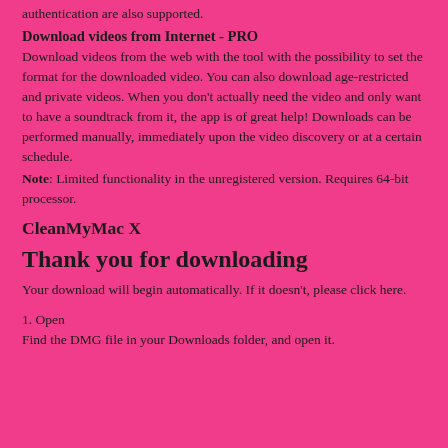authentication are also supported.
Download videos from Internet - PRO
Download videos from the web with the tool with the possibility to set the format for the downloaded video. You can also download age-restricted and private videos. When you don't actually need the video and only want to have a soundtrack from it, the app is of great help! Downloads can be performed manually, immediately upon the video discovery or at a certain schedule.
Note: Limited functionality in the unregistered version. Requires 64-bit processor.
CleanMyMac X
Thank you for downloading
Your download will begin automatically. If it doesn't, please click here.
1. Open
Find the DMG file in your Downloads folder, and open it.